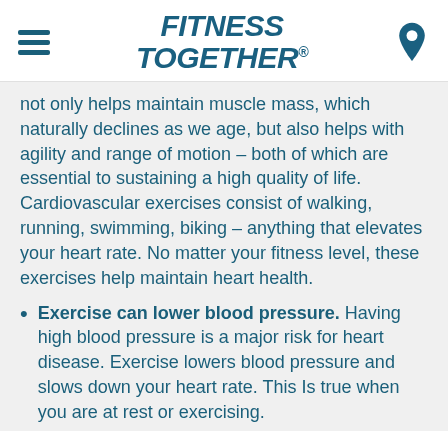FITNESS TOGETHER
not only helps maintain muscle mass, which naturally declines as we age, but also helps with agility and range of motion – both of which are essential to sustaining a high quality of life. Cardiovascular exercises consist of walking, running, swimming, biking – anything that elevates your heart rate. No matter your fitness level, these exercises help maintain heart health.
Exercise can lower blood pressure. Having high blood pressure is a major risk for heart disease. Exercise lowers blood pressure and slows down your heart rate. This Is true when you are at rest or exercising.